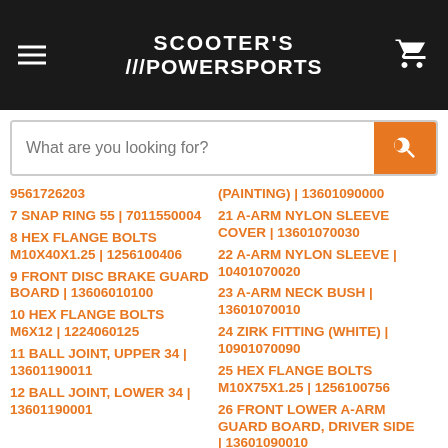SCOOTER'S ///POWERSPORTS
What are you looking for?
9561726203
7 SNAP RING 55 | 7011550004
8 HEX FLANGE BOLTS M10X40X1.25 | 1256100406
9 FRONT DISC BRAKE GUARD BOARD | 13606010100
10 HEX FLANGE BOLTS M6X12 | 1224060125
11 BALL JOINT, UPPER 34 | 13601190011
12 BALL JOINT, LOWER 34 | 13601190001
(PAINTING) | 13601090000
21 A-ARM NYLON SLEEVE COVER | 13601070030
22 A-ARM NYLON SLEEVE | 10401070020
23 A-ARM NECK BUSH | 13601070010
24 ZIRK FITTING (WHITE) | 10901070090
25 HEX FLANGE BOLTS M10X75X1.25 | 1256100756
26 FRONT LOWER A-ARM GUARD BOARD, DRIVER SIDE | 13601090010